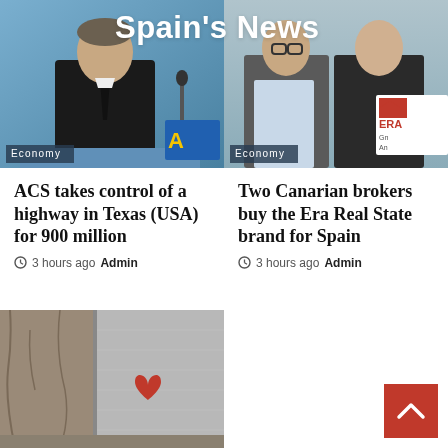Spain's News
[Figure (photo): Man in suit speaking at a podium at a press conference, blue background with ACS logo partially visible]
[Figure (photo): Two men in suits holding a sign or document, ERA Real Estate branding visible]
ACS takes control of a highway in Texas (USA) for 900 million
3 hours ago Admin
Two Canarian brokers buy the Era Real State brand for Spain
3 hours ago Admin
[Figure (photo): Street scene with cracked stone wall and a red heart painted on a metal panel]
[Figure (other): Red back-to-top button with white chevron arrow]